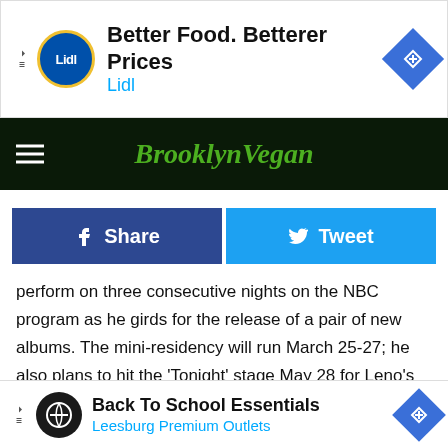[Figure (other): Lidl advertisement banner: Better Food. Betterer Prices / Lidl]
[Figure (logo): BrooklynVegan website navigation bar with hamburger menu and green italic logo]
[Figure (other): Share and Tweet social buttons]
perform on three consecutive nights on the NBC program as he girds for the release of a pair of new albums. The mini-residency will run March 25-27; he also plans to hit the 'Tonight' stage May 28 for Leno's next-to-last night as host of the venerable talk show." [Reuters]
"Five new shows have been added to Michael Jackson's London run, bringing the total to 50, according to Randy Phillips, CEO of AEG Live, promoter of the shows."
[Billboa
[Figure (other): Leesburg Premium Outlets Back To School Essentials advertisement banner]